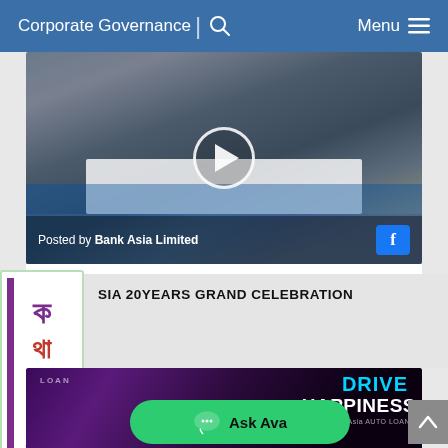Corporate Governance  |  Menu
[Figure (screenshot): Video thumbnail showing a corporate event/ceremony with people at a table. Play button overlay. Caption reads 'Posted by Bank Asia Limited' with Facebook icon.]
Posted by Bank Asia Limited
[Figure (logo): Colorful logo with non-Latin script, green and purple, with wifi/signal icon at bottom]
SIA 20YEARS GRAND CELEBRATION
[Figure (photo): Bank Asia AUTO LOAN advertisement showing 'DRIVE HAPPINESS With Bank Asia AUTO LOAN' text over dark purple/pink background with palm tree silhouette]
Ask Ava